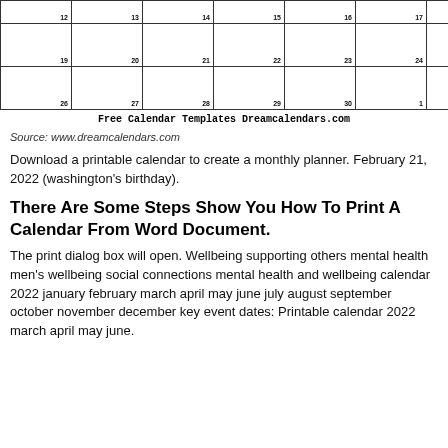[Figure (table-as-image): Partial calendar grid showing rows with day numbers 12-8 (top), 19-25, 26-2 (bottom rows visible)]
Free Calendar Templates Dreamcalendars.com
Source: www.dreamcalendars.com
Download a printable calendar to create a monthly planner. February 21, 2022 (washington's birthday).
There Are Some Steps Show You How To Print A Calendar From Word Document.
The print dialog box will open. Wellbeing supporting others mental health men's wellbeing social connections mental health and wellbeing calendar 2022 january february march april may june july august september october november december key event dates: Printable calendar 2022 march april may june.